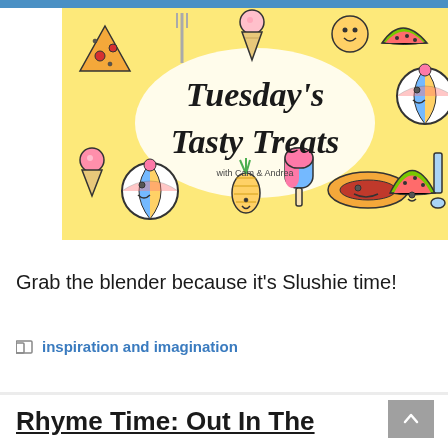[Figure (illustration): Tuesday's Tasty Treats banner with cartoon food illustrations on yellow background, text reads 'Tuesday's Tasty Treats with Cam & Andrea']
Grab the blender because it's Slushie time!
inspiration and imagination
Rhyme Time: Out In The